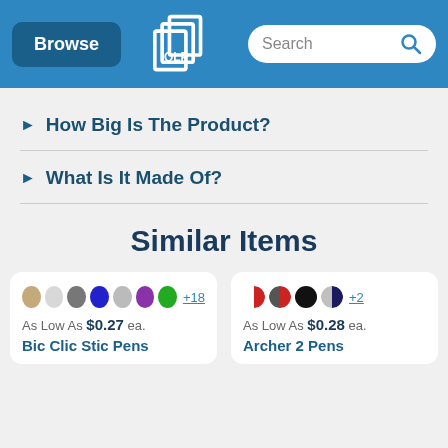Browse | [Logo] | Search
▶ How Big Is The Product?
▶ What Is It Made Of?
Similar Items
As Low As $0.27 ea. Bic Clic Stic Pens
As Low As $0.28 ea. Archer 2 Pens